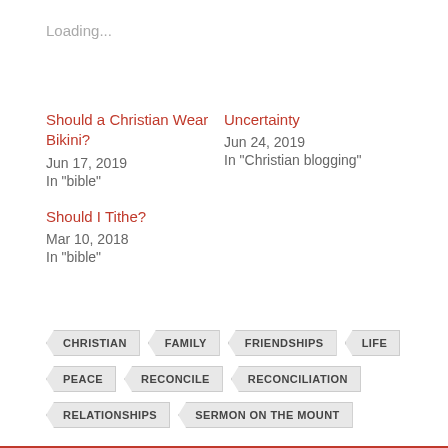Loading...
Should a Christian Wear Bikini?
Jun 17, 2019
In "bible"
Uncertainty
Jun 24, 2019
In "Christian blogging"
Should I Tithe?
Mar 10, 2018
In "bible"
CHRISTIAN
FAMILY
FRIENDSHIPS
LIFE
PEACE
RECONCILE
RECONCILIATION
RELATIONSHIPS
SERMON ON THE MOUNT